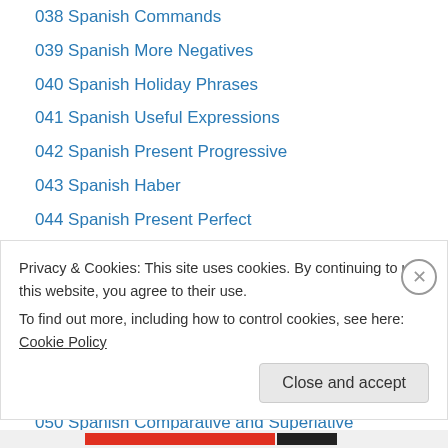038 Spanish Commands
039 Spanish More Negatives
040 Spanish Holiday Phrases
041 Spanish Useful Expressions
042 Spanish Present Progressive
043 Spanish Haber
044 Spanish Present Perfect
045 Spanish Places
046 Spanish Transportation
047 Spanish To Want, to Be Able to Have to
048 Spanish House
049 Spanish Furniture
050 Spanish Comparative and Superlative
051 Spanish Irregular Forms
Privacy & Cookies: This site uses cookies. By continuing to use this website, you agree to their use.
To find out more, including how to control cookies, see here: Cookie Policy
Close and accept